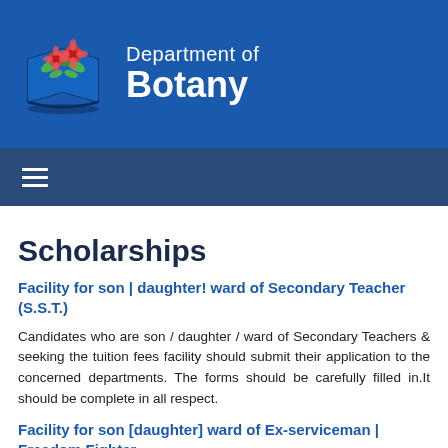Department of Botany
Scholarships
Facility for son | daughter! ward of Secondary Teacher (S.S.T.)
Candidates who are son / daughter / ward of Secondary Teachers & seeking the tuition fees facility should submit their application to the concerned departments. The forms should be carefully filled in.It should be complete in all respect.
Facility for son [daughter] ward of Ex-serviceman | Freedom Fighter
Candidates who are son / daughter / ward of Ex-serviceman | Freedom Fighter and seeking the